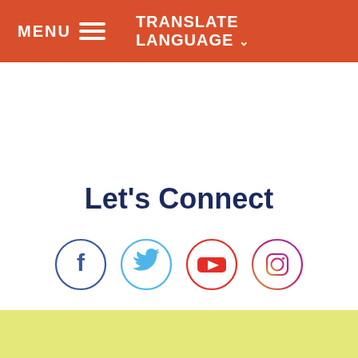MENU  TRANSLATE LANGUAGE
Let's Connect
[Figure (illustration): Four social media icons in circles: Facebook (blue), Twitter (light blue), YouTube (red), Instagram (pink/red gradient outline)]